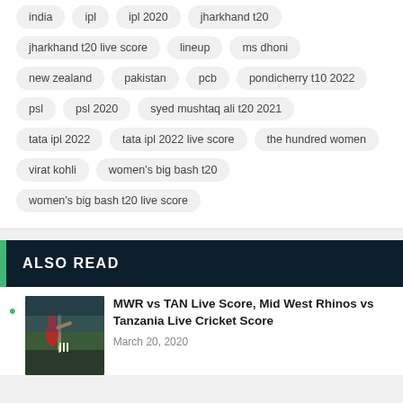india
ipl
ipl 2020
jharkhand t20
jharkhand t20 live score
lineup
ms dhoni
new zealand
pakistan
pcb
pondicherry t10 2022
psl
psl 2020
syed mushtaq ali t20 2021
tata ipl 2022
tata ipl 2022 live score
the hundred women
virat kohli
women's big bash t20
women's big bash t20 live score
ALSO READ
MWR vs TAN Live Score, Mid West Rhinos vs Tanzania Live Cricket Score
March 20, 2020